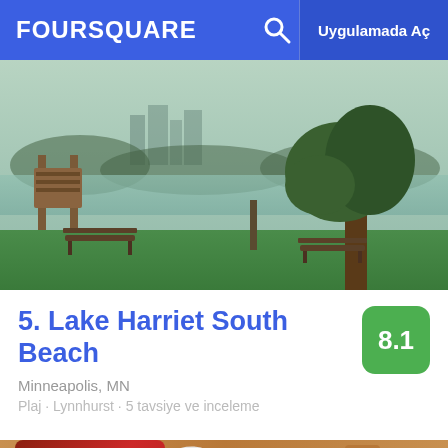FOURSQUARE  Uygulamada Aç
[Figure (photo): Park scene with benches, wooden tower/lifeguard stand, large tree, green grass, misty lake and city skyline in background]
5. Lake Harriet South Beach
Minneapolis, MN
Plaj · Lynnhurst · 5 tavsiye ve inceleme
[Figure (photo): Caribou Coffee branded red cup and white cup on wooden surface with Caribou Coffee branded items in background]